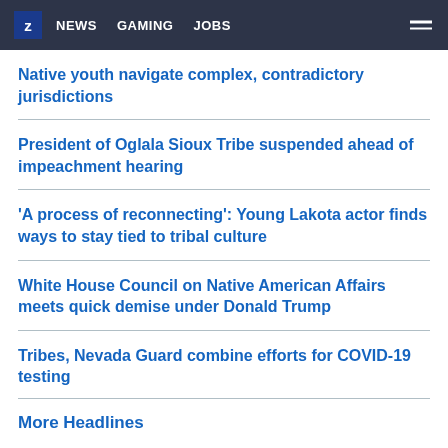Z NEWS GAMING JOBS
Native youth navigate complex, contradictory jurisdictions
President of Oglala Sioux Tribe suspended ahead of impeachment hearing
'A process of reconnecting': Young Lakota actor finds ways to stay tied to tribal culture
White House Council on Native American Affairs meets quick demise under Donald Trump
Tribes, Nevada Guard combine efforts for COVID-19 testing
More Headlines